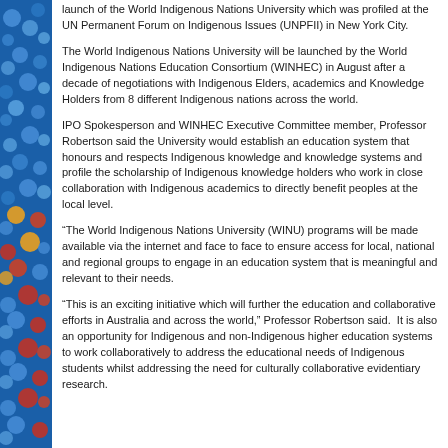[Figure (illustration): Blue sidebar with colorful polka dots decorating the left edge of the page]
launch of the World Indigenous Nations University which was profiled at the UN Permanent Forum on Indigenous Issues (UNPFII) in New York City.
The World Indigenous Nations University will be launched by the World Indigenous Nations Education Consortium (WINHEC) in August after a decade of negotiations with Indigenous Elders, academics and Knowledge Holders from 8 different Indigenous nations across the world.
IPO Spokesperson and WINHEC Executive Committee member, Professor Robertson said the University would establish an education system that honours and respects Indigenous knowledge and knowledge systems and profile the scholarship of Indigenous knowledge holders who work in close collaboration with Indigenous academics to directly benefit peoples at the local level.
“The World Indigenous Nations University (WINU) programs will be made available via the internet and face to face to ensure access for local, national and regional groups to engage in an education system that is meaningful and relevant to their needs.
“This is an exciting initiative which will further the education and collaborative efforts in Australia and across the world,” Professor Robertson said.  It is also an opportunity for Indigenous and non-Indigenous higher education systems to work collaboratively to address the educational needs of Indigenous students whilst addressing the need for culturally collaborative evidentiary research.